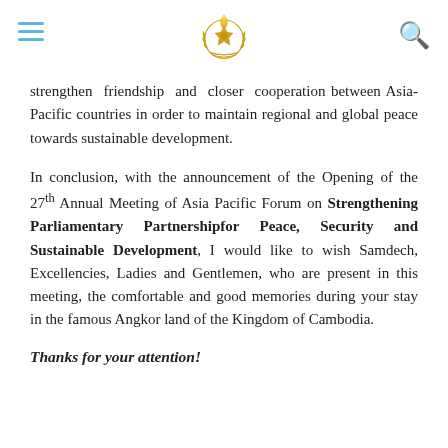[Cambodian Parliament emblem / logo with hamburger menu and search icon]
strengthen friendship and closer cooperation between Asia-Pacific countries in order to maintain regional and global peace towards sustainable development.
In conclusion, with the announcement of the Opening of the 27th Annual Meeting of Asia Pacific Forum on Strengthening Parliamentary Partnershipfor Peace, Security and Sustainable Development, I would like to wish Samdech, Excellencies, Ladies and Gentlemen, who are present in this meeting, the comfortable and good memories during your stay in the famous Angkor land of the Kingdom of Cambodia.
Thanks for your attention!